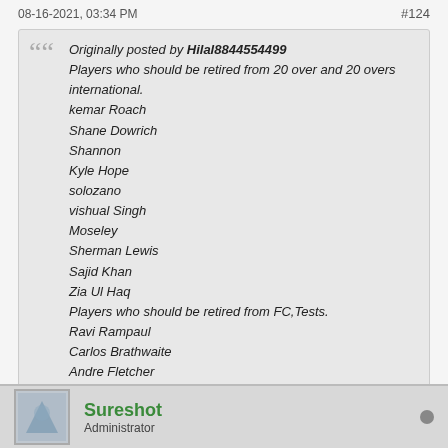08-16-2021, 03:34 PM   #124
Originally posted by Hilal8844554499
Players who should be retired from 20 over and 20 overs international.
kemar Roach
Shane Dowrich
Shannon
Kyle Hope
solozano
vishual Singh
Moseley
Sherman Lewis
Sajid Khan
Zia Ul Haq
Players who should be retired from FC,Tests.
Ravi Rampaul
Carlos Brathwaite
Andre Fletcher
Ben Dwarshuis
Sohail Akhtar
cottrell
Have you got links for any of these?
Sureshot
Administrator